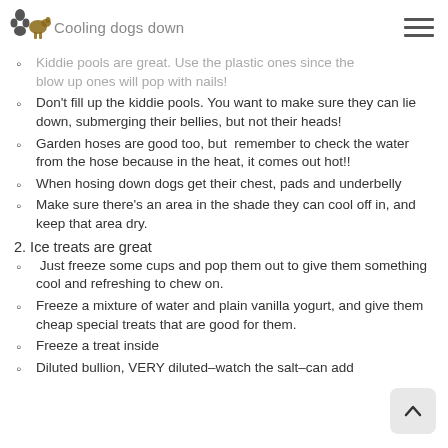Cooling dogs down
Kiddie pools are great. Use the plastic ones since the blow up ones will pop with nails!
Don't fill up the kiddie pools. You want to make sure they can lie down, submerging their bellies, but not their heads!
Garden hoses are good too, but remember to check the water from the hose because in the heat, it comes out hot!!
When hosing down dogs get their chest, pads and underbelly
Make sure there's an area in the shade they can cool off in, and keep that area dry.
2. Ice treats are great
Just freeze some cups and pop them out to give them something cool and refreshing to chew on.
Freeze a mixture of water and plain vanilla yogurt, and give them cheap special treats that are good for them.
Freeze a treat inside
Diluted bullion, VERY diluted–watch the salt–can add